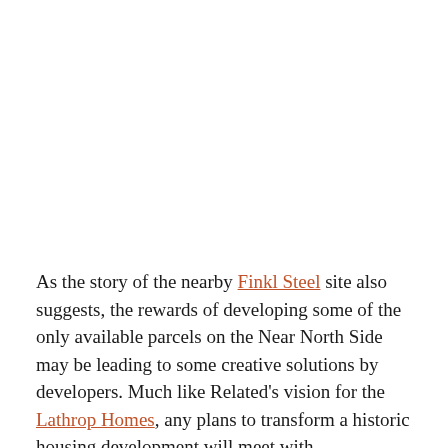As the story of the nearby Finkl Steel site also suggests, the rewards of developing some of the only available parcels on the Near North Side may be leading to some creative solutions by developers. Much like Related's vision for the Lathrop Homes, any plans to transform a historic housing development will meet with considerable resistance and a potential fight for